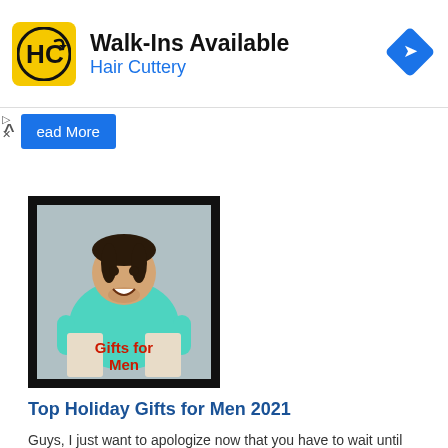[Figure (other): Hair Cuttery advertisement banner with yellow HC logo, 'Walk-Ins Available' text, 'Hair Cuttery' subtitle in blue, and a blue diamond direction icon on the right]
ead More
[Figure (photo): Framed photo of a man in a teal shirt excitedly opening a bag, with red text overlay 'Gifts for Men']
Top Holiday Gifts for Men 2021
Guys, I just want to apologize now that you have to wait until Christmas for new socks and underwear.